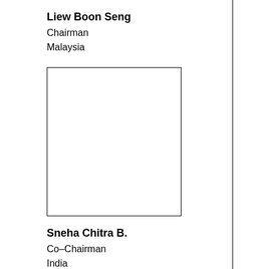Liew Boon Seng
Chairman
Malaysia
[Figure (photo): Empty photo placeholder box with black border]
Sneha Chitra B.
Co-Chairman
India